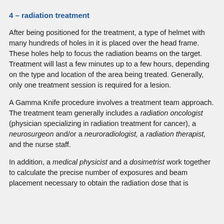4 – radiation treatment
After being positioned for the treatment, a type of helmet with many hundreds of holes in it is placed over the head frame. These holes help to focus the radiation beams on the target. Treatment will last a few minutes up to a few hours, depending on the type and location of the area being treated. Generally, only one treatment session is required for a lesion.
A Gamma Knife procedure involves a treatment team approach. The treatment team generally includes a radiation oncologist (physician specializing in radiation treatment for cancer), a neurosurgeon and/or a neuroradiologist, a radiation therapist, and the nurse staff.
In addition, a medical physicist and a dosimetrist work together to calculate the precise number of exposures and beam placement necessary to obtain the radiation dose that is